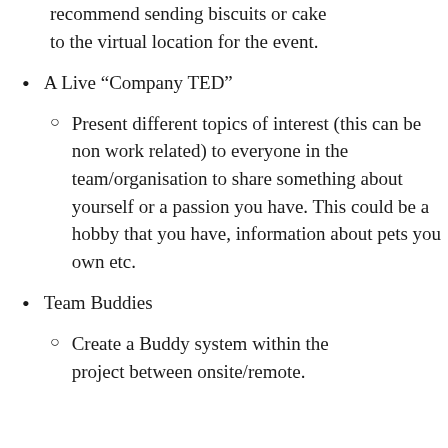recommend sending biscuits or cake to the virtual location for the event.
A Live “Company TED”
Present different topics of interest (this can be non work related) to everyone in the team/organisation to share something about yourself or a passion you have. This could be a hobby that you have, information about pets you own etc.
Team Buddies
Create a Buddy system within the project between onsite/remote.